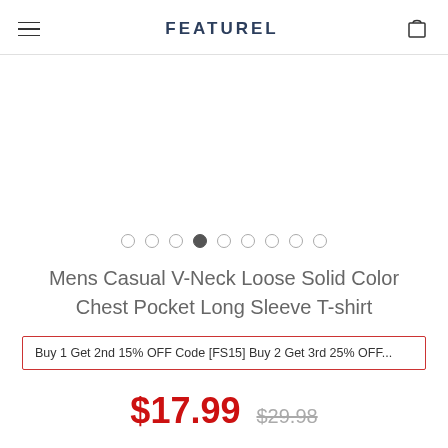FEATUREL
[Figure (other): Product image carousel area (blank/white image area with 9 navigation dots below, 4th dot active)]
Mens Casual V-Neck Loose Solid Color Chest Pocket Long Sleeve T-shirt
Buy 1 Get 2nd 15% OFF Code [FS15] Buy 2 Get 3rd 25% OFF...
$17.99  $29.98